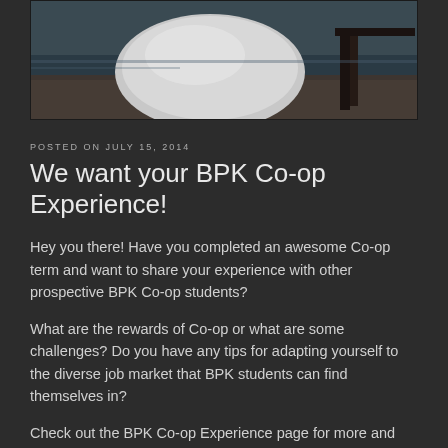[Figure (photo): Outdoor nature scene showing a large snow or salt mound near water with gravel ground and a dock or structure in the background]
POSTED ON JULY 15, 2014
We want your BPK Co-op Experience!
Hey you there! Have you completed an awesome Co-op term and want to share your experience with other prospective BPK Co-op students?
What are the rewards of Co-op or what are some challenges? Do you have any tips for adapting yourself to the diverse job market that BPK students can find themselves in?
Check out the BPK Co-op Experience page for more and